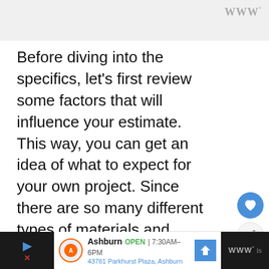WWW°
Before diving into the specifics, let's first review some factors that will influence your estimate. This way, you can get an idea of what to expect for your own project. Since there are so many different types of materials and styles, building a house can get expensive fast if you don't consider these factors from the very beginning.
1: Budget
Ashburn OPEN | 7:30AM–6PM 43781 Parkhurst Plaza, Ashburn